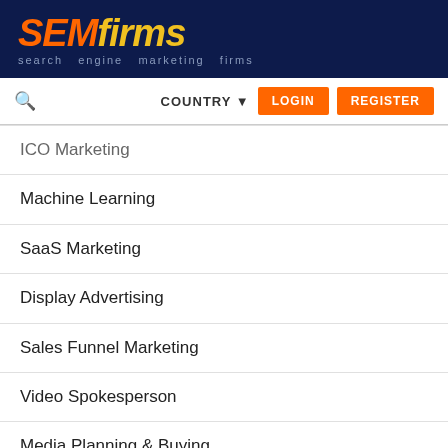SEMfirms — search engine marketing firms
ICO Marketing
Machine Learning
SaaS Marketing
Display Advertising
Sales Funnel Marketing
Video Spokesperson
Media Planning & Buying
IT Services & Consulting
Staff Augmentation
Public Relations